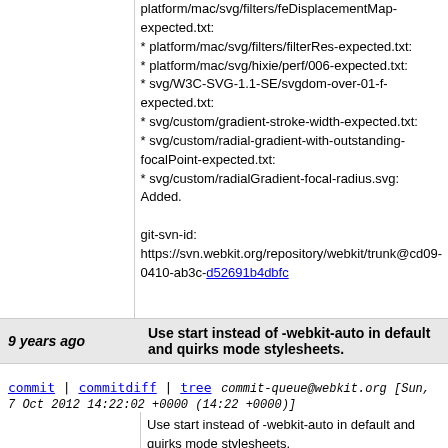* platform/mac/svg/filters/filterRes-expected.txt:
* platform/mac/svg/hixie/perf/006-expected.txt:
* svg/W3C-SVG-1.1-SE/svgdom-over-01-f-expected.txt:
* svg/custom/gradient-stroke-width-expected.txt:
* svg/custom/radial-gradient-with-outstanding-focalPoint-expected.txt:
* svg/custom/radialGradient-focal-radius.svg: Added.
git-svn-id: https://svn.webkit.org/repository/webkit/trunk@cd09-0410-ab3c-d52691b4dbfc
9 years ago   Use start instead of -webkit-auto in default and quirks mode stylesheets.
commit | commitdiff | tree   commit-queue@webkit.org [Sun, 7 Oct 2012 14:22:02 +0000 (14:22 +0000)]
Use start instead of -webkit-auto in default and quirks mode stylesheets. https://bugs.webkit.org/show_bug.cgi?id=98609
Patch by Glenn Adams <glenn@skynav.com> on